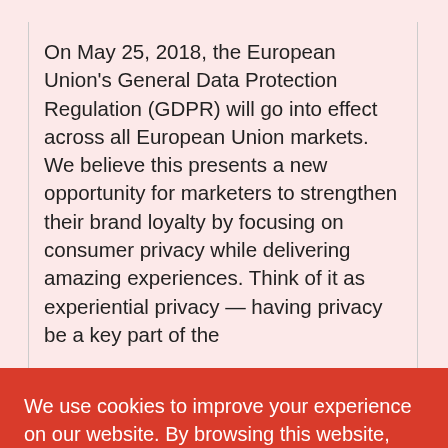On May 25, 2018, the European Union's General Data Protection Regulation (GDPR) will go into effect across all European Union markets. We believe this presents a new opportunity for marketers to strengthen their brand loyalty by focusing on consumer privacy while delivering amazing experiences. Think of it as experiential privacy — having privacy be a key part of the
We use cookies to improve your experience on our website. By browsing this website, you agree to our use of cookies. Read more about our Privacy Policy.
I accept
Website privacy policy template